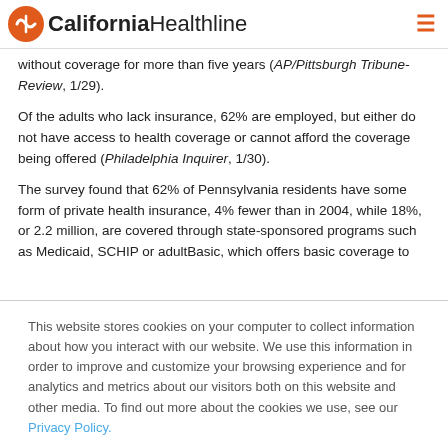California Healthline
without coverage for more than five years (AP/Pittsburgh Tribune-Review, 1/29).
Of the adults who lack insurance, 62% are employed, but either do not have access to health coverage or cannot afford the coverage being offered (Philadelphia Inquirer, 1/30).
The survey found that 62% of Pennsylvania residents have some form of private health insurance, 4% fewer than in 2004, while 18%, or 2.2 million, are covered through state-sponsored programs such as Medicaid, SCHIP or adultBasic, which offers basic coverage to
This website stores cookies on your computer to collect information about how you interact with our website. We use this information in order to improve and customize your browsing experience and for analytics and metrics about our visitors both on this website and other media. To find out more about the cookies we use, see our Privacy Policy.